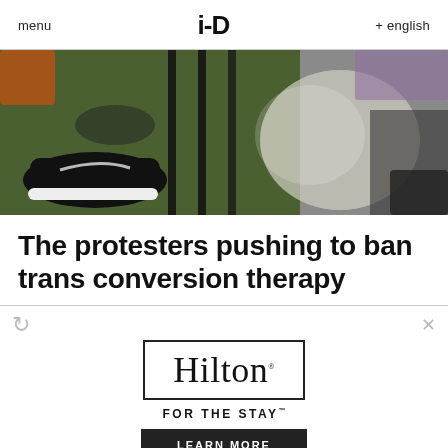menu   i-D   + english
[Figure (photo): Close-up photo of feet in black and white Nike sneakers on green grass, near metal railings, with asphalt pavement visible on the right side. Sunlight and shadows visible.]
The protesters pushing to ban trans conversion therapy
[Figure (other): Hilton advertisement banner: Hilton logo in serif font inside a rectangle border, tagline 'FOR THE STAY' with trademark symbol, and a 'LEARN MORE' button on dark background. Refresh and close icons visible.]